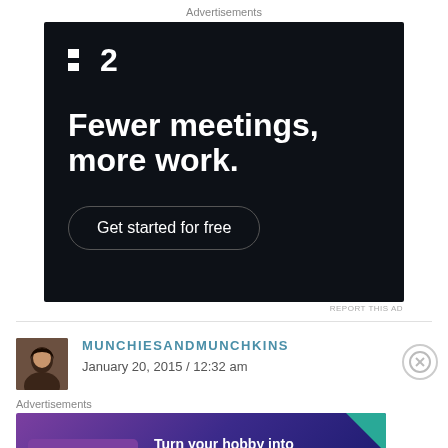Advertisements
[Figure (illustration): Dark-themed advertisement for a project management tool (F2 logo). Text: 'Fewer meetings, more work.' with a 'Get started for free' button.]
REPORT THIS AD
MUNCHIESANDMUNCHKINS
January 20, 2015 / 12:32 am
Advertisements
[Figure (illustration): WooCommerce advertisement banner: 'Turn your hobby into a business in 8 steps' with colorful geometric shapes on purple/dark blue background.]
REPORT THIS AD